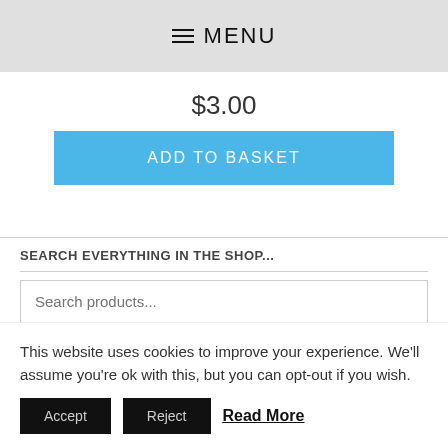≡ MENU
$3.00
ADD TO BASKET
SEARCH EVERYTHING IN THE SHOP...
Search products...
Search
THESE ARE YOUR SELECTIONS SO FAR...
This website uses cookies to improve your experience. We'll assume you're ok with this, but you can opt-out if you wish.
Accept  Reject  Read More